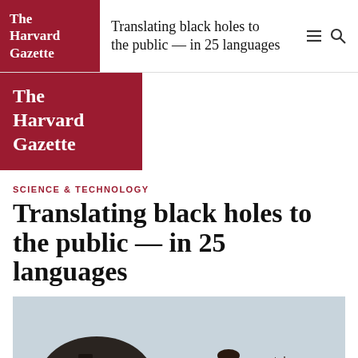The Harvard Gazette | Translating black holes to the public — in 25 languages
[Figure (logo): The Harvard Gazette red logo block (secondary, large)]
SCIENCE & TECHNOLOGY
Translating black holes to the public — in 25 languages
[Figure (photo): A man standing outdoors in front of an observatory dome with bare winter trees in the background]